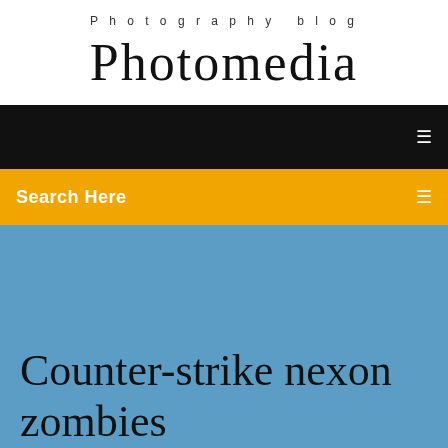Photography blog
Photomedia
[Figure (screenshot): Black navigation bar with white menu icon on right]
Search Here
Counter-strike nexon zombies